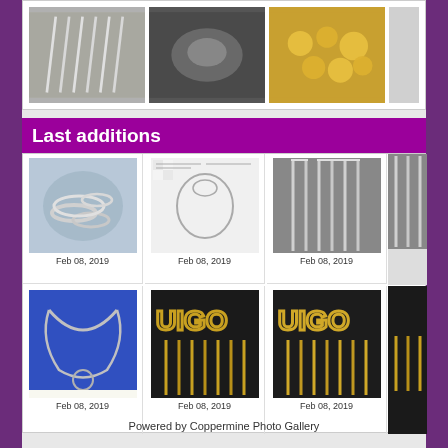[Figure (photo): Top row of three jewelry thumbnail photos: silver chains, blurred dark shape, golden nuggets/beads]
Last additions
[Figure (photo): Grid of 6 jewelry photos with dates Feb 08, 2019: silver rings, diamond ring schematic, silver chains, necklace on blue background, two gold chain pattern items]
Powered by Coppermine Photo Gallery